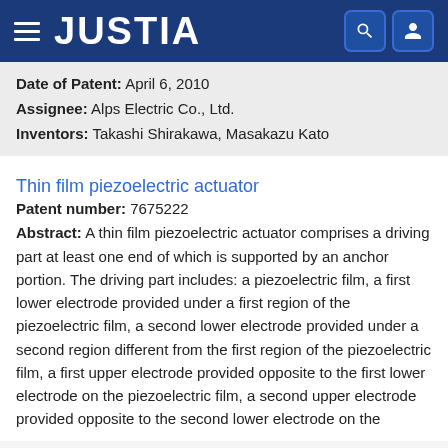JUSTIA
Date of Patent: April 6, 2010
Assignee: Alps Electric Co., Ltd.
Inventors: Takashi Shirakawa, Masakazu Kato
Thin film piezoelectric actuator
Patent number: 7675222
Abstract: A thin film piezoelectric actuator comprises a driving part at least one end of which is supported by an anchor portion. The driving part includes: a piezoelectric film, a first lower electrode provided under a first region of the piezoelectric film, a second lower electrode provided under a second region different from the first region of the piezoelectric film, a first upper electrode provided opposite to the first lower electrode on the piezoelectric film, a second upper electrode provided opposite to the second lower electrode on the